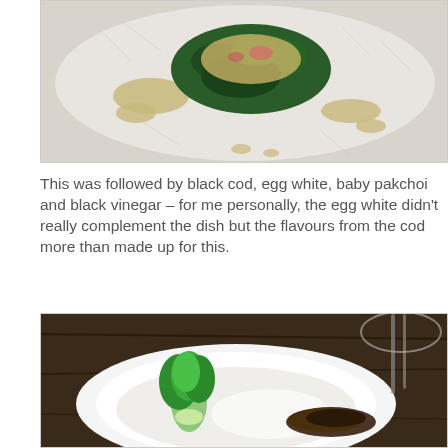[Figure (photo): Top-down view of a plated dish on a white crackled ceramic plate, featuring a mound of dark green herbs/greens topped with melted cheese and pink elements, surrounded by a creamy beige sauce drizzled around the plate.]
This was followed by black cod, egg white, baby pakchoi and black vinegar – for me personally, the egg white didn't really complement the dish but the flavours from the cod more than made up for this.
[Figure (photo): Close-up of a white bowl containing a plated dish with a whole baby pakchoi (bok choy) with bright green leaves, a piece of dark seared black cod, white sauce or egg white, on a dark wooden table with cutlery visible in the background.]